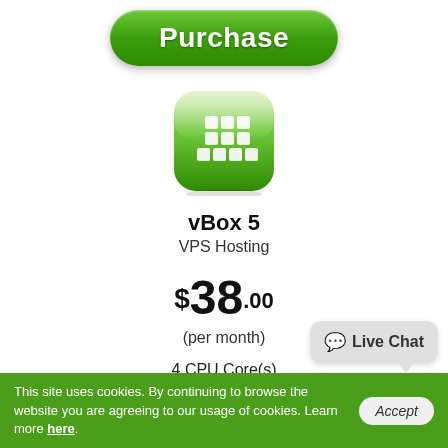Purchase
[Figure (logo): vBox green rounded square app icon with white grid/bar chart pattern]
vBox 5
VPS Hosting
$38.00
(per month)
4 CPU Core(s)
8192 MB RAM
160 GB Disk Space
Affordable Domains
1 IP Addresses
Live Chat
This site uses cookies. By continuing to browse the website you are agreeing to our usage of cookies. Learn more here.